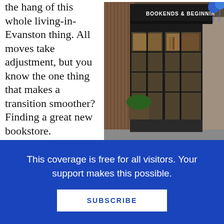the hang of this whole living-in-Evanston thing. All moves take adjustment, but you know the one thing that makes a transition smoother? Finding a great new bookstore.  I was wondering the streets of downtown Evanston when I saw this sign advertising a bookstore down an alley.  And while alley walking isn't my usual way to go, having living in NYC for eleven years (a land...
[Figure (photo): Exterior of 'Bookends & Beginnings' bookstore storefront at night, with black awning displaying the store name, large glass French doors, warm interior lighting showing bookshelves, and blue balloons visible at top right]
This coverage is free for all visitors. Your support makes this possible.
SUBSCRIBE